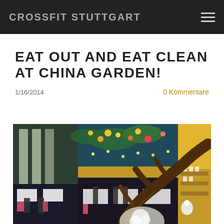CROSSFIT STUTTGART
EAT OUT AND EAT CLEAN AT CHINA GARDEN!
1/16/2014
0 Kommentare
[Figure (photo): Interior of China Garden restaurant showing ornate ceiling decorated with painted flowers, leaves and lights on a blue-teal background, with a gnarled tree branch in the foreground, black chairs and white-clothed tables with pink napkins in background.]